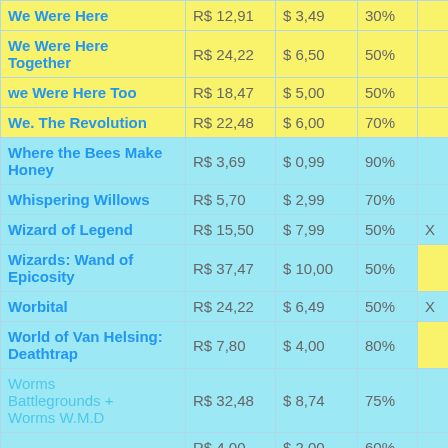| Name | BRL | USD | Disc | Flag |
| --- | --- | --- | --- | --- |
| We Were Here | R$ 12,91 | $ 3,49 | 30% |  |
| We Were Here Together | R$ 24,22 | $ 6,50 | 50% |  |
| we Were Here Too | R$ 18,47 | $ 5,00 | 50% |  |
| We. The Revolution | R$ 22,48 | $ 6,00 | 70% |  |
| Where the Bees Make Honey | R$ 3,69 | $ 0,99 | 90% |  |
| Whispering Willows | R$ 5,70 | $ 2,99 | 70% |  |
| Wizard of Legend | R$ 15,50 | $ 7,99 | 50% | X |
| Wizards: Wand of Epicosity | R$ 37,47 | $ 10,00 | 50% |  |
| Worbital | R$ 24,22 | $ 6,49 | 50% | X |
| World of Van Helsing: Deathtrap | R$ 7,80 | $ 4,00 | 80% |  |
| Worms Battlegrounds + Worms W.M.D | R$ 32,48 | $ 8,74 | 75% |  |
| ... | R$ 4,00 | $ 2,00 | 60% |  |